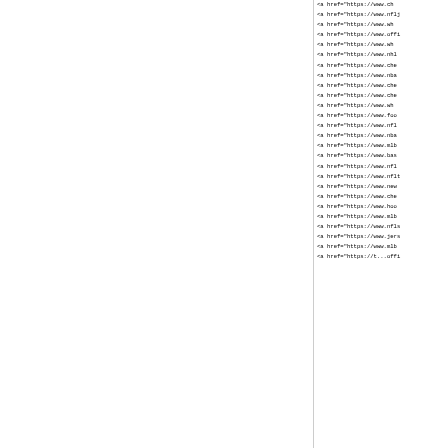<a href="https://www.ch...
<a href="https://www.nflj...
<a href="https://www.wh...
<a href="https://www.offi...
<a href="https://www.wh...
<a href="https://www.nhl...
<a href="https://www.che...
<a href="https://www.nba...
<a href="https://www.che...
<a href="https://www.che...
<a href="https://www.wh...
<a href="https://www.foo...
<a href="https://www.nfl...
<a href="https://www.nba...
<a href="https://www.mlb...
<a href="https://www.bas...
<a href="https://www.nfl...
<a href="https://www.nflt...
<a href="https://www.new...
<a href="https://www.che...
<a href="https://www.hoo...
<a href="https://www.mlb...
<a href="https://www.nfls...
<a href="https://www.jers...
<a href="https://www.mlb...
<a href="https://t...offi...